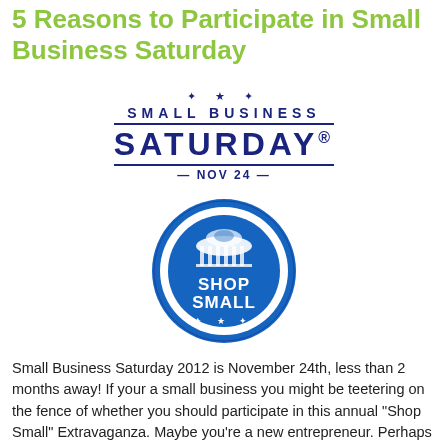5 Reasons to Participate in Small Business Saturday
[Figure (logo): Small Business Saturday NOV 24 logo with Shop Small circular badge. Dark navy blue text on white background with two horizontal rules. Below, a circular blue badge with a white store illustration and 'SHOP SMALL' text in white.]
Small Business Saturday 2012 is November 24th, less than 2 months away! If your a small business you might be teetering on the fence of whether you should participate in this annual "Shop Small" Extravaganza. Maybe you're a new entrepreneur. Perhaps you've heard rumors or noticed the